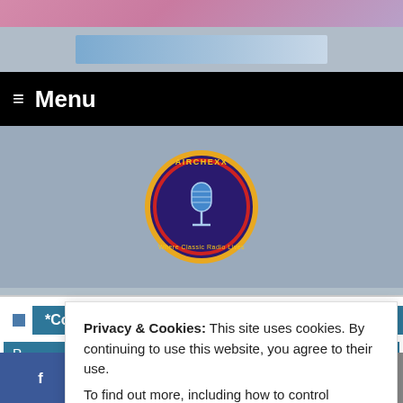[Figure (screenshot): Pink gradient top bar of a website]
≡ Menu
[Figure (logo): Airchexx circular logo with vintage microphone and text 'Where Classic Radio Lives']
*Contributors , 105.1 WPJB , Brad Michaud ,
Privacy & Cookies: This site uses cookies. By continuing to use this website, you agree to their use.
To find out more, including how to control cookies, see here:
Cookie Policy
Close and accept
f  𝕥  𝗣  in  ✉